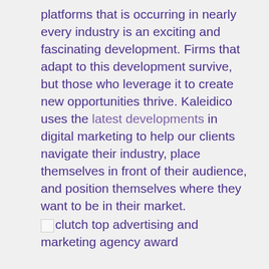platforms that is occurring in nearly every industry is an exciting and fascinating development. Firms that adapt to this development survive, but those who leverage it to create new opportunities thrive. Kaleidico uses the latest developments in digital marketing to help our clients navigate their industry, place themselves in front of their audience, and position themselves where they want to be in their market.
[Figure (other): Clutch top advertising and marketing agency award badge/image (broken image placeholder visible)]
clutch top advertising and marketing agency award
Our specialty is helping our clients get noticed by their audiences, but occasionally we end up drawing some attention to ourselves as well. We are pleased to share that we have